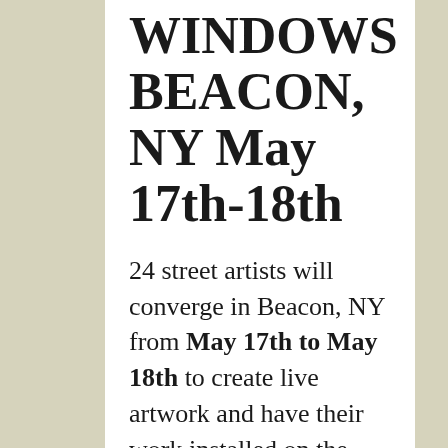WINDOWS BEACON, NY May 17th-18th
24 street artists will converge in Beacon, NY from May 17th to May 18th to create live artwork and have their work installed on the exterior of a